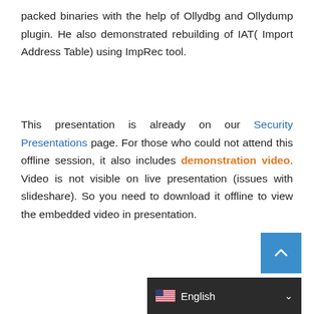packed binaries with the help of Ollydbg and Ollydump plugin. He also demonstrated rebuilding of IAT( Import Address Table) using ImpRec tool.
This presentation is already on our Security Presentations page. For those who could not attend this offline session, it also includes demonstration video. Video is not visible on live presentation (issues with slideshare). So you need to download it offline to view the embedded video in presentation.